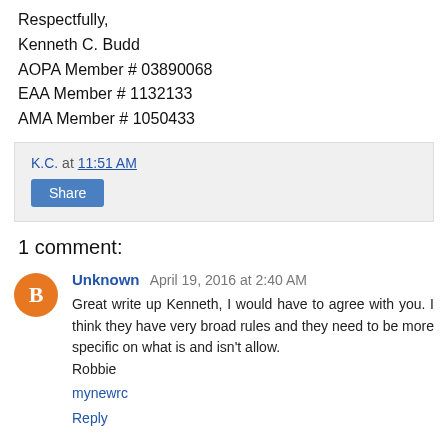Respectfully,
Kenneth C. Budd
AOPA Member # 03890068
EAA Member # 1132133
AMA Member # 1050433
K.C. at 11:51 AM
Share
1 comment:
Unknown April 19, 2016 at 2:40 AM
Great write up Kenneth, I would have to agree with you. I think they have very broad rules and they need to be more specific on what is and isn't allow.
Robbie
mynewrc
Reply